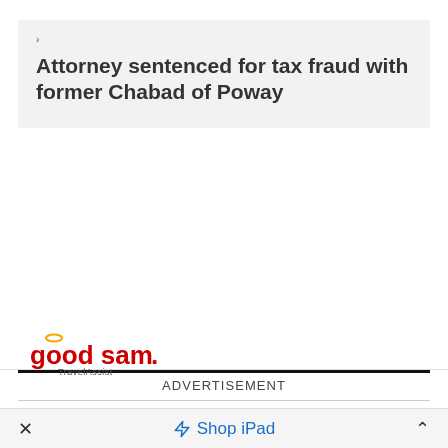›
Attorney sentenced for tax fraud with former Chabad of Poway
ADVERTISEMENT
[Figure (logo): Good Sam TravelAssist logo in red with orange halo above the 'g']
× Shop iPad ^